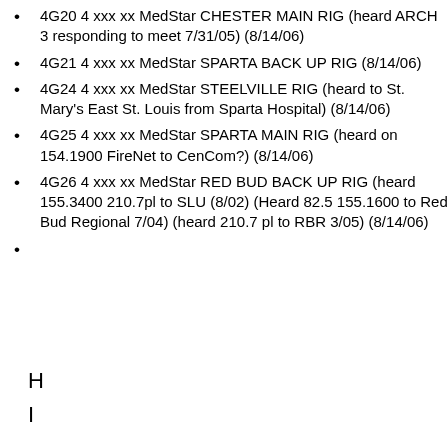4G20 4 xxx xx MedStar CHESTER MAIN RIG (heard ARCH 3 responding to meet 7/31/05) (8/14/06)
4G21 4 xxx xx MedStar SPARTA BACK UP RIG (8/14/06)
4G24 4 xxx xx MedStar STEELVILLE RIG (heard to St. Mary's East St. Louis from Sparta Hospital) (8/14/06)
4G25 4 xxx xx MedStar SPARTA MAIN RIG (heard on 154.1900 FireNet to CenCom?) (8/14/06)
4G26 4 xxx xx MedStar RED BUD BACK UP RIG (heard 155.3400 210.7pl to SLU (8/02) (Heard 82.5 155.1600 to Red Bud Regional 7/04) (heard 210.7 pl to RBR 3/05) (8/14/06)
H
I